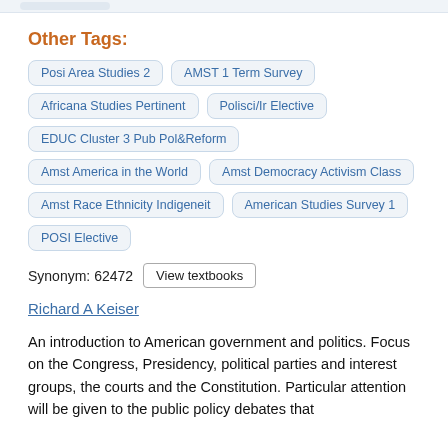Other Tags:
Posi Area Studies 2
AMST 1 Term Survey
Africana Studies Pertinent
Polisci/Ir Elective
EDUC Cluster 3 Pub Pol&Reform
Amst America in the World
Amst Democracy Activism Class
Amst Race Ethnicity Indigeneit
American Studies Survey 1
POSI Elective
Synonym: 62472  View textbooks
Richard A Keiser
An introduction to American government and politics. Focus on the Congress, Presidency, political parties and interest groups, the courts and the Constitution. Particular attention will be given to the public policy debates that